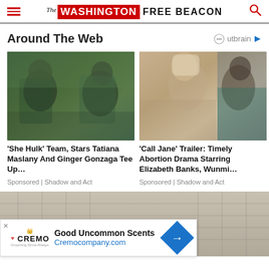The Washington Free Beacon
Around The Web
[Figure (photo): She Hulk movie still showing two characters facing each other outdoors]
'She Hulk' Team, Stars Tatiana Maslany And Ginger Gonzaga Tee Up…
Sponsored | Shadow and Act
[Figure (photo): Call Jane movie still showing blonde woman and another woman]
'Call Jane' Trailer: Timely Abortion Drama Starring Elizabeth Banks, Wunmi…
Sponsored | Shadow and Act
[Figure (photo): Bottom image showing people with building in background, partially obscured by ad banner]
[Figure (infographic): Cremo advertisement banner: Good Uncommon Scents, Cremocompany.com]